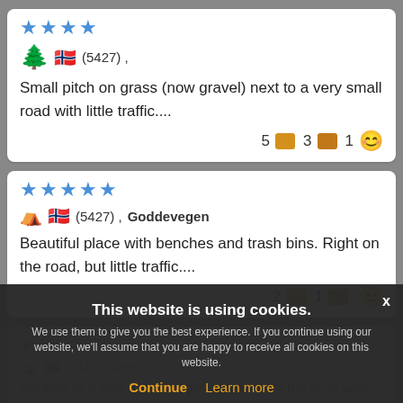★★★★ (4 stars)
🌲 🇳🇴 (5427) ,
Small pitch on grass (now gravel) next to a very small road with little traffic....
5 [image] 3 [chat] 1 😊
★★★★★ (5 stars)
⛺ 🇳🇴 (5427) , Goddevegen
Beautiful place with benches and trash bins. Right on the road, but little traffic....
2 [image] 1 [chat] 😐
★★★ (3 stars)
This website is using cookies.
We use them to give you the best experience. If you continue using our website, we'll assume that you are happy to receive all cookies on this website.
Continue   Learn more
Parking at a bay with a large meadow. Picnic area with